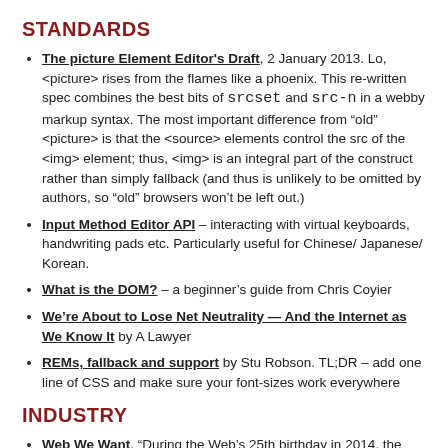STANDARDS
The picture Element Editor's Draft, 2 January 2013. Lo, <picture> rises from the flames like a phoenix. This re-written spec combines the best bits of srcset and src-n in a webby markup syntax. The most important difference from "old" <picture> is that the <source> elements control the src of the <img> element; thus, <img> is an integral part of the construct rather than simply fallback (and thus is unlikely to be omitted by authors, so "old" browsers won't be left out.)
Input Method Editor API – interacting with virtual keyboards, handwriting pads etc. Particularly useful for Chinese/ Japanese/ Korean.
What is the DOM? – a beginner's guide from Chris Coyier
We're About to Lose Net Neutrality — And the Internet as We Know It by A Lawyer
REMs, fallback and support by Stu Robson. TL;DR – add one line of CSS and make sure your font-sizes work everywhere
INDUSTRY
Web We Want. "During the Web's 25th birthday in 2014, the Web We Want campaign will ask everyone, everywhere to play a part in defining the Web's future, and then help to build and defend it"